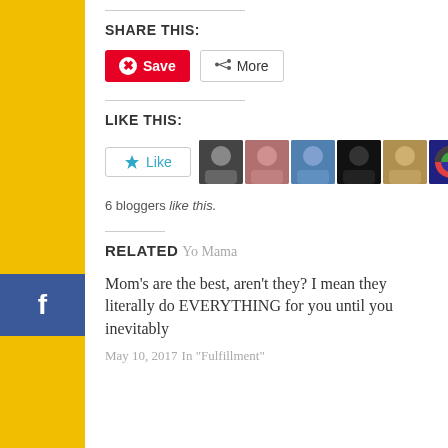SHARE THIS:
[Figure (screenshot): Save button (Pinterest-style red button with pin icon) and More button]
LIKE THIS:
[Figure (screenshot): Like button with star icon and 6 blogger avatar thumbnails]
6 bloggers like this.
RELATED
Yo Mama
Mom's are the best, aren't they? I mean they literally do EVERYTHING for you until you inevitably
May 10, 2017
In "Fulfillment"